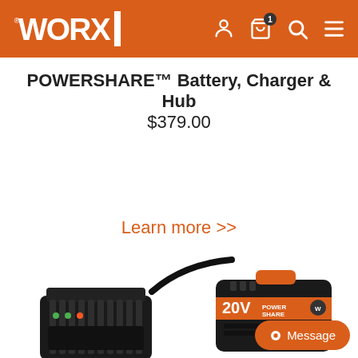WORX
POWERSHARE™ Battery, Charger & Hub
$379.00
Add to Cart
Learn more >>
[Figure (photo): WORX 20V battery charger (black, with cable) and WORX 20V POWERSHARE battery pack (black and orange) shown side by side]
Message